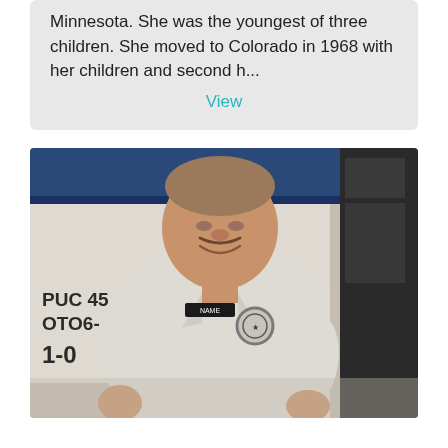Minnesota.  She was the youngest of three children. She moved to Colorado in 1968 with her children and second h...
View
[Figure (photo): A man in a white uniform shirt standing in front of a vehicle. The vehicle has text visible including 'PUC 450' and 'OTO6-' and '1-0'. The man appears to be smiling at the camera. The photo is slightly faded/vintage in appearance.]